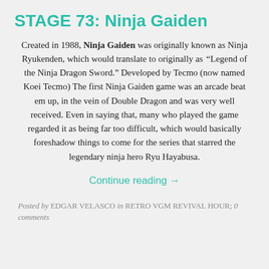STAGE 73: Ninja Gaiden
Created in 1988, Ninja Gaiden was originally known as Ninja Ryukenden, which would translate to originally as “Legend of the Ninja Dragon Sword.” Developed by Tecmo (now named Koei Tecmo) The first Ninja Gaiden game was an arcade beat em up, in the vein of Double Dragon and was very well received. Even in saying that, many who played the game regarded it as being far too difficult, which would basically foreshadow things to come for the series that starred the legendary ninja hero Ryu Hayabusa.
Continue reading →
Posted by EDGAR VELASCO in RETRO VGM REVIVAL HOUR; 0 comments